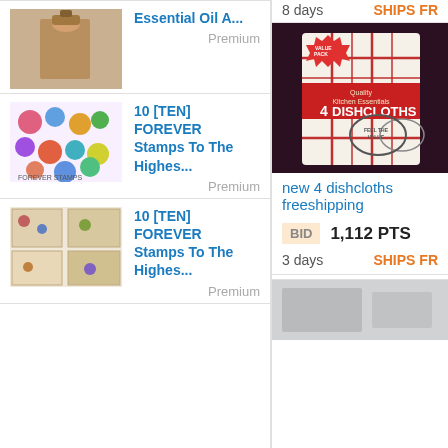[Figure (photo): Product thumbnail for Essential Oil item]
Essential Oil A...
Premium
[Figure (photo): Product thumbnail for 10 [TEN] FOREVER Stamps listing 1]
10 [TEN] FOREVER Stamps To The Highes...
Premium
[Figure (photo): Product thumbnail for 10 [TEN] FOREVER Stamps listing 2]
10 [TEN] FOREVER Stamps To The Highes...
Premium
8 days
SHIPS FR
[Figure (photo): Photo of packaged 4 Dishcloths product in plastic wrap, red plaid pattern, label reads Quality Kitchen Essentials 4 DISHCLOTHS, FEEL THE VALUE]
new 4 dishcloths freeshipping
BID
1,112 PTS
3 days
SHIPS FR
[Figure (photo): Partial product photo at bottom of page, appears gray/silver]